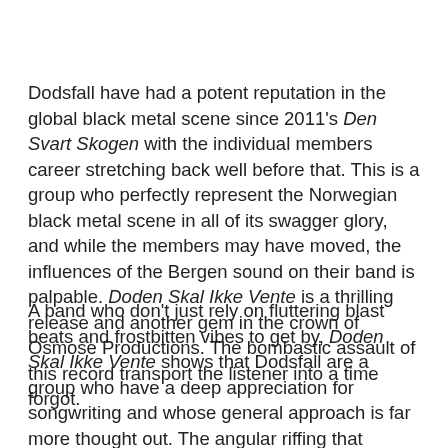Dodsfall have had a potent reputation in the global black metal scene since 2011's Den Svart Skogen with the individual members career stretching back well before that. This is a group who perfectly represent the Norwegian black metal scene in all of its swagger glory, and while the members may have moved, the influences of the Bergen sound on their band is palpable. Doden Skal Ikke Vente is a thrilling release and another gem in the crown of Osmose Productions. The bombastic assault of this record transport the listener into a time forgot.
A band who don't just rely on fluttering blast beats and frostbitten vibes to get by, Doden Skal Ikke Vente shows that Dodsfall are a group who have a deep appreciation for songwriting and whose general approach is far more thought out. The angular riffing that defines this record is reminiscent of acts like Beastcraft, but generally reflects the seething anger of the Norwegian school of black metal. While at ti...